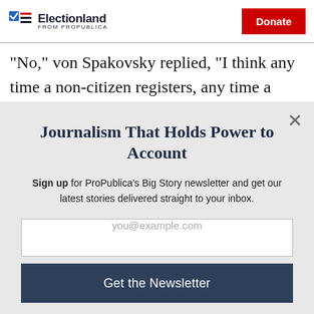Electionland FROM PROPUBLICA | Donate
“No,” von Spakovsky replied, “I think any time a non-citizen registers, any time a non-citizen votes, they are
Journalism That Holds Power to Account
Sign up for ProPublica’s Big Story newsletter and get our latest stories delivered straight to your inbox.
you@example.com
Get the Newsletter
No thanks, I’m all set
This site is protected by reCAPTCHA and the Google Privacy Policy and Terms of Service apply.